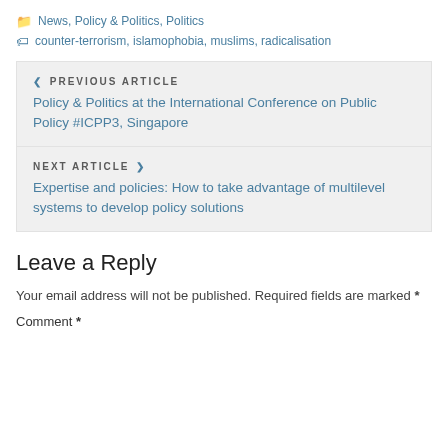📁 News, Policy & Politics, Politics
🏷 counter-terrorism, islamophobia, muslims, radicalisation
< PREVIOUS ARTICLE
Policy & Politics at the International Conference on Public Policy #ICPP3, Singapore
NEXT ARTICLE >
Expertise and policies: How to take advantage of multilevel systems to develop policy solutions
Leave a Reply
Your email address will not be published. Required fields are marked *
Comment *